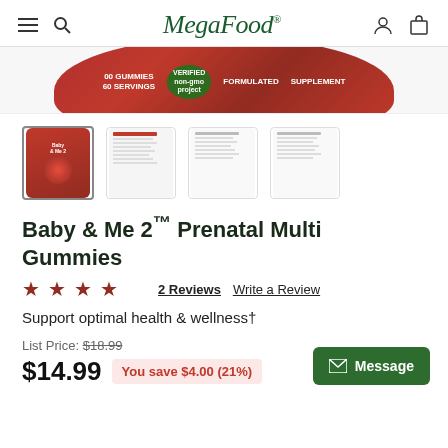MegaFood
[Figure (photo): Partial top view of a red product jar/container with text 'VERIFIED' and 'SUPPLEMENT' visible]
[Figure (photo): Four product thumbnail images of Baby & Me 2 Prenatal Multi Gummies - front view, back panel, and two label/facts panels]
Baby & Me 2™ Prenatal Multi Gummies
[Figure (other): 4.5 out of 5 stars rating]
2 Reviews   Write a Review
Support optimal health & wellness†
List Price: $18.99
$14.99   You save $4.00 (21%)